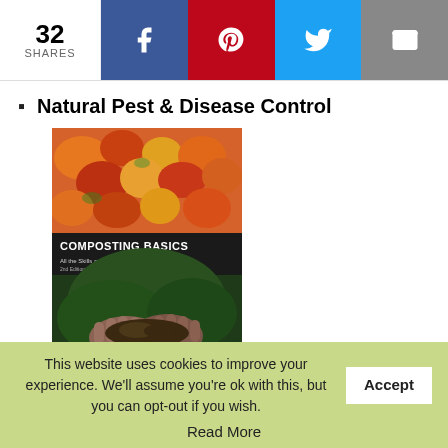32 SHARES | Facebook | Pinterest | Twitter | Email
Natural Pest & Disease Control
[Figure (photo): Book cover of 'Composting Basics: All the Skills and Tools You Need to Get Started, 2nd Edition' by Eric Ebeling with Carl Hahn and Pam Ulbrock. Cover shows hands holding compost over a green leaf background, with produce on top.]
Great Garden Companions (helpful, but not overwhelming, explanation of companion planting)
This website uses cookies to improve your experience. We'll assume you're ok with this, but you can opt-out if you wish. Accept
Read More